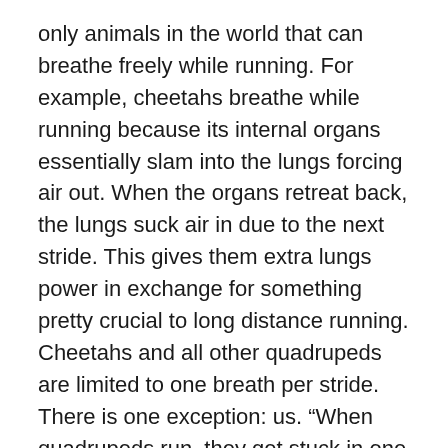only animals in the world that can breathe freely while running. For example, cheetahs breathe while running because its internal organs essentially slam into the lungs forcing air out. When the organs retreat back, the lungs suck air in due to the next stride. This gives them extra lungs power in exchange for something pretty crucial to long distance running. Cheetahs and all other quadrupeds are limited to one breath per stride. There is one exception: us. “When quadrupeds run, they get stuck in one breath per locomotion cycle. But the human runners we tested never went one to one. They could pick from a number of different ratios , generally preferred tow to one,” Dr. Bramble said. This is because we have the ability to sweat. All animals with pelt have to use their breathing as their primary way of cooling off. Scientists at Harvard measured the internal temperature of a cheetah and found that once its